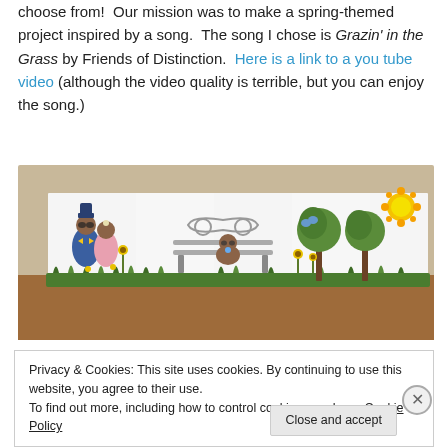choose from!  Our mission was to make a spring-themed project inspired by a song.  The song I chose is Grazin' in the Grass by Friends of Distinction.  Here is a link to a you tube video (although the video quality is terrible, but you can enjoy the song.)
[Figure (photo): A spring-themed paper craft project showing bear figures on a park bench scene with grass, flowers, and trees, inspired by the song Grazin' in the Grass.]
Privacy & Cookies: This site uses cookies. By continuing to use this website, you agree to their use. To find out more, including how to control cookies, see here: Cookie Policy